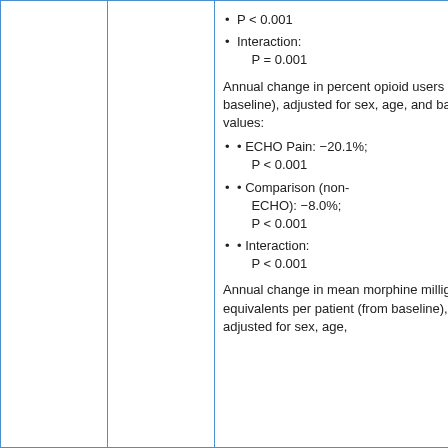P < 0.001
Interaction: P = 0.001
Annual change in percent opioid users (from baseline), adjusted for sex, age, and baseline values:
ECHO Pain: −20.1%; P < 0.001
Comparison (non-ECHO): −8.0%; P < 0.001
Interaction: P < 0.001
Annual change in mean morphine milligram equivalents per patient (from baseline), adjusted for sex, age,